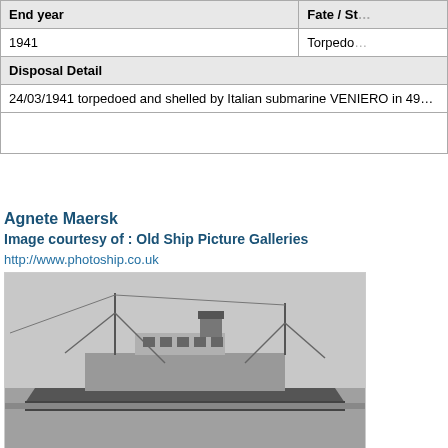| End year | Fate / St... |
| --- | --- |
| 1941 | Torpedo... |
| Disposal Detail |  |
| 24/03/1941 torpedoed and shelled by Italian submarine VENIERO in 49N - 22.55W |  |
|  |  |
Agnete Maersk
Image courtesy of :  Old Ship Picture Galleries
http://www.photoship.co.uk
[Figure (photo): Black and white photograph of the ship Agnete Maersk at dock, showing cargo cranes and superstructure.]
Agnete Maersk
Image courtesy of :  Old Ship Picture Galleries
http://www.photoship.co.uk